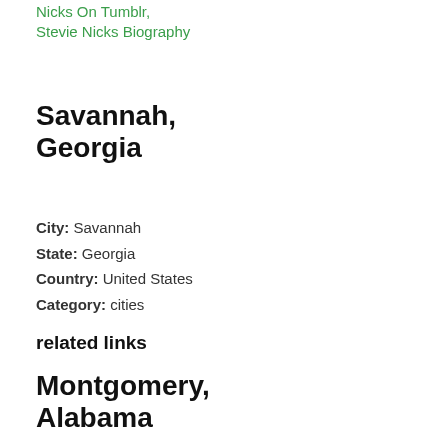Nicks On Tumblr, Stevie Nicks Biography
Savannah, Georgia
City: Savannah
State: Georgia
Country: United States
Category: cities
related links
Montgomery, Alabama
City: Montgomery
State: Alabama
Country: United States
Category: cities
related links